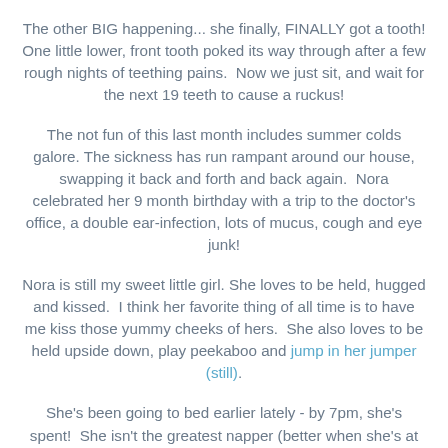The other BIG happening... she finally, FINALLY got a tooth! One little lower, front tooth poked its way through after a few rough nights of teething pains.  Now we just sit, and wait for the next 19 teeth to cause a ruckus!
The not fun of this last month includes summer colds galore. The sickness has run rampant around our house, swapping it back and forth and back again.  Nora celebrated her 9 month birthday with a trip to the doctor's office, a double ear-infection, lots of mucus, cough and eye junk!
Nora is still my sweet little girl. She loves to be held, hugged and kissed.  I think her favorite thing of all time is to have me kiss those yummy cheeks of hers.  She also loves to be held upside down, play peekaboo and jump in her jumper (still).
She's been going to bed earlier lately - by 7pm, she's spent!  She isn't the greatest napper (better when she's at home, hardly at all at school), but she'll sleep 12 hours at night!  It's amazing.